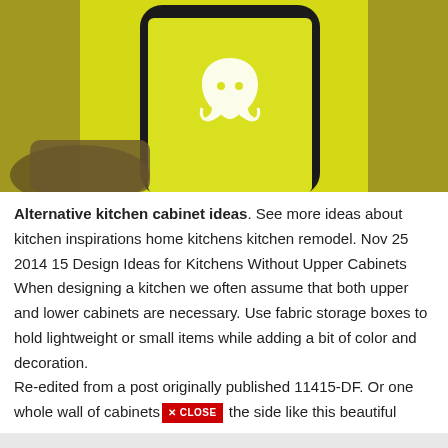[Figure (photo): A hand holding a smartphone displaying the Snapchat app (ghost logo on yellow background), photographed against a yellow background.]
Alternative kitchen cabinet ideas. See more ideas about kitchen inspirations home kitchens kitchen remodel. Nov 25 2014 15 Design Ideas for Kitchens Without Upper Cabinets When designing a kitchen we often assume that both upper and lower cabinets are necessary. Use fabric storage boxes to hold lightweight or small items while adding a bit of color and decoration.
Re-edited from a post originally published 11415-DF. Or one whole wall of cabinets on the side like this beautiful